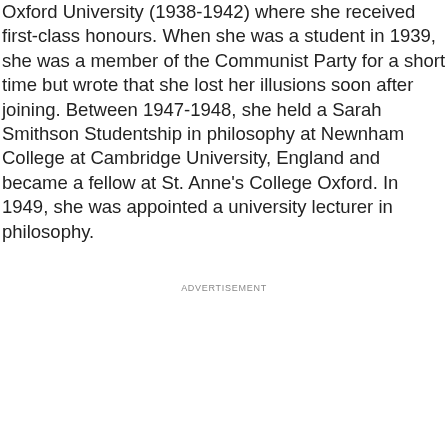Oxford University (1938-1942) where she received first-class honours. When she was a student in 1939, she was a member of the Communist Party for a short time but wrote that she lost her illusions soon after joining. Between 1947-1948, she held a Sarah Smithson Studentship in philosophy at Newnham College at Cambridge University, England and became a fellow at St. Anne's College Oxford. In 1949, she was appointed a university lecturer in philosophy.
ADVERTISEMENT